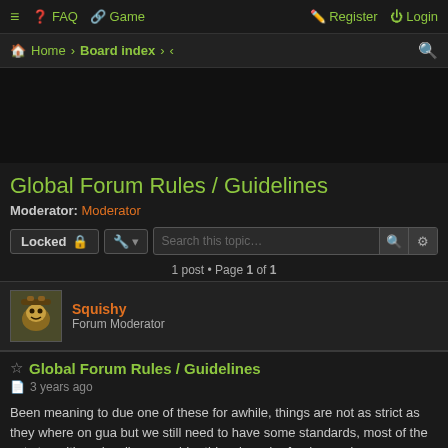≡  FAQ  Game  |  Register  Login
Home · Board index · ‹ ‹
Global Forum Rules / Guidelines
Moderator: Moderator
Locked 🔒  |  Tools  |  Search this topic...  |  1 post • Page 1 of 1
Squishy
Forum Moderator
⭐ Global Forum Rules / Guidelines
3 years ago
Been meaning to due one of these for awhile, things are not as strict as they where on gua but we still need to have some standards, most of the vets transitioned well so consider this a broad refresher and more importantly a beyond "common" sense list of the not so obvious ones for new players. please note that this is subject to change at any time for any reason with or without notice and are applicable to all areas of the forum.